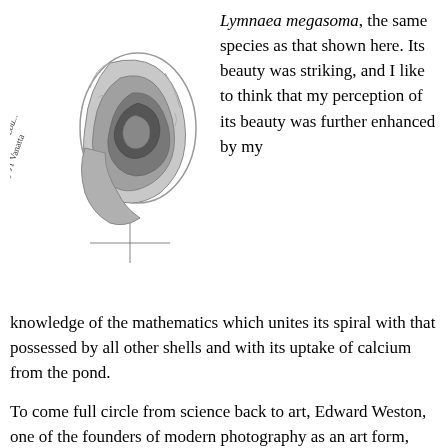[Figure (illustration): Pencil sketch of a Lymnaea megasoma shell from Beaver Pond St. Louis, collected by JT Vanatta. The shell is drawn in graphite showing spiral coiling detail. Handwritten label text is visible rotated along the left side of the sketch.]
Lymnaea megasoma, the same species as that shown here. Its beauty was striking, and I like to think that my perception of its beauty was further enhanced by my knowledge of the mathematics which unites its spiral with that possessed by all other shells and with its uptake of calcium from the pond.
To come full circle from science back to art, Edward Weston, one of the founders of modern photography as an art form, took many dozens of photographs of Nautilus shells. Some of these are of whole shells, but the most gorgeous are of shells cut in half to expose the spiral. This simple equation contains the